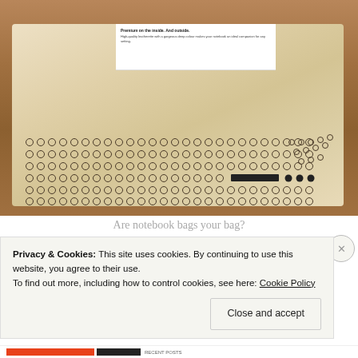[Figure (photo): A linen/canvas notebook bag laid flat on a wooden surface, with a white product card visible at the top, and rows of small printed circles forming a dot pattern across the lower portion of the bag.]
Are notebook bags your bag?
Privacy & Cookies: This site uses cookies. By continuing to use this website, you agree to their use.
To find out more, including how to control cookies, see here: Cookie Policy
Close and accept